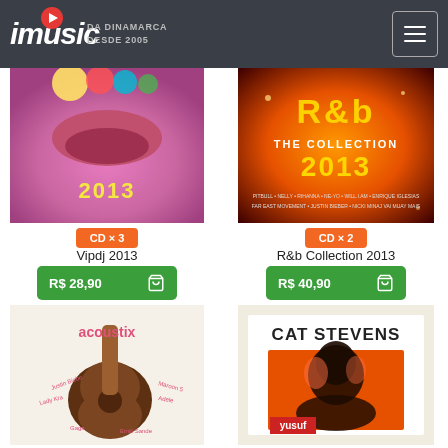imusic DA DINAMARCA DESDE 2005
[Figure (photo): Vipdj 2013 album cover - colorful abstract with '2013' text]
[Figure (photo): R&b Collection 2013 album cover - orange/gold design]
CD × 3
CD × 2
Vipdj 2013
R&b Collection 2013
R$ 28,90
R$ 40,90
[Figure (photo): Acoustix album cover - guitar with artist names]
[Figure (photo): Cat Stevens Yusuf album cover - orange toned portrait]